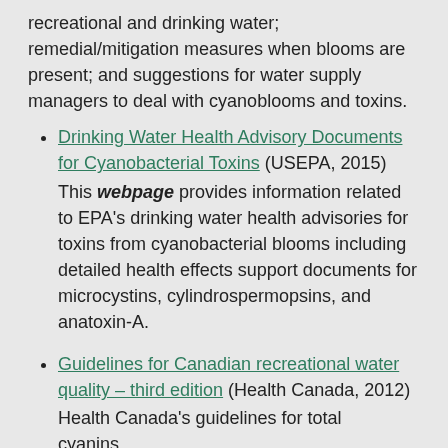recreational and drinking water; remedial/mitigation measures when blooms are present; and suggestions for water supply managers to deal with cyanoblooms and toxins.
Drinking Water Health Advisory Documents for Cyanobacterial Toxins (USEPA, 2015) This webpage provides information related to EPA's drinking water health advisories for toxins from cyanobacterial blooms including detailed health effects support documents for microcystins, cylindrospermopsins, and anatoxin-A.
Guidelines for Canadian recreational water quality – third edition (Health Canada, 2012) Health Canada's guidelines for total cyanins...